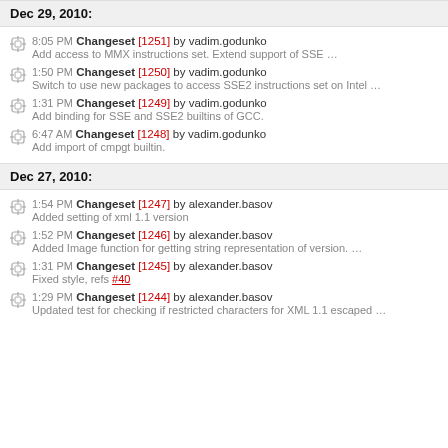Dec 29, 2010:
8:05 PM Changeset [1251] by vadim.godunko
Add access to MMX instructions set. Extend support of SSE …
1:50 PM Changeset [1250] by vadim.godunko
Switch to use new packages to access SSE2 instructions set on Intel …
1:31 PM Changeset [1249] by vadim.godunko
Add binding for SSE and SSE2 builtins of GCC.
6:47 AM Changeset [1248] by vadim.godunko
Add import of cmpgt builtin.
Dec 27, 2010:
1:54 PM Changeset [1247] by alexander.basov
Added setting of xml 1.1 version
1:52 PM Changeset [1246] by alexander.basov
Added Image function for getting string representation of version. …
1:31 PM Changeset [1245] by alexander.basov
Fixed style, refs #40
1:29 PM Changeset [1244] by alexander.basov
Updated test for checking if restricted characters for XML 1.1 escaped …